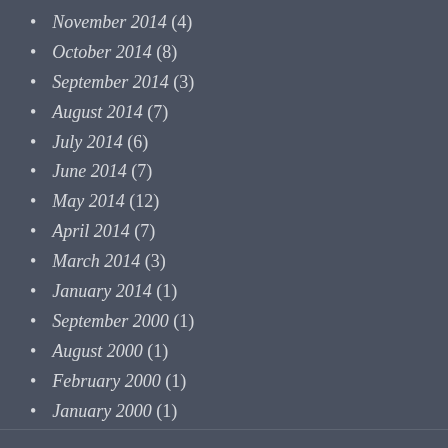November 2014 (4)
October 2014 (8)
September 2014 (3)
August 2014 (7)
July 2014 (6)
June 2014 (7)
May 2014 (12)
April 2014 (7)
March 2014 (3)
January 2014 (1)
September 2000 (1)
August 2000 (1)
February 2000 (1)
January 2000 (1)